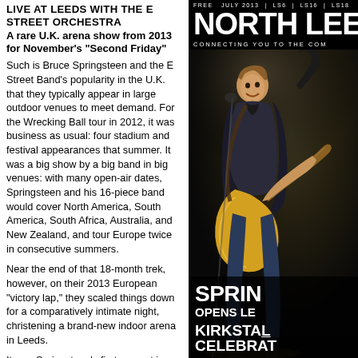LIVE AT LEEDS WITH THE E STREET ORCHESTRA
A rare U.K. arena show from 2013 for November's "Second Friday"
Such is Bruce Springsteen and the E Street Band's popularity in the U.K. that they typically appear in large outdoor venues to meet demand. For the Wrecking Ball tour in 2012, it was business as usual: four stadium and festival appearances that summer. It was a big show by a big band in big venues: with many open-air dates, Springsteen and his 16-piece band would cover North America, South America, South Africa, Australia, and New Zealand, and tour Europe twice in consecutive summers.
Near the end of that 18-month trek, however, on their 2013 European "victory lap," they scaled things down for a comparatively intimate night, christening a brand-new indoor arena in Leeds.
It was Springsteen's first concert in this northern city since 1985, when he played for 80,000 people at Roundhay Park; the new arena had a capacity of 13,500. Tickets sold out in minutes, and fans began arriving several days early to secure a place at the front. Today, Leeds, July 24, 2013 joins Wrecking Ball-era recordings from the Apollo Theatre,
[Figure (photo): Magazine cover of North Leeds magazine, July 2013, showing Bruce Springsteen playing guitar energetically on stage, with text 'NORTH LEEDS', 'CONNECTING YOU TO THE COM...', 'SPRIN...', 'OPENS LE...', 'KIRKSTALL', 'CELEBRAT...']